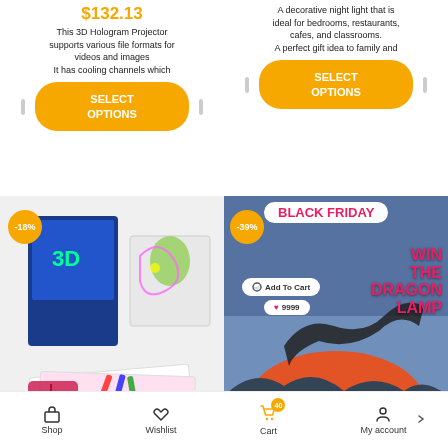$132.13
This 3D Hologram Projector supports various file formats for videos and images
It has cooling channels which
A decorative night light that is ideal for bedrooms, restaurants, cafes, and classrooms.
A perfect gift idea to family and
[Figure (screenshot): SELECT OPTIONS button (orange rounded) with arrow icons on left and right for 3D Hologram product]
[Figure (screenshot): SELECT OPTIONS button (orange rounded) with arrow icons on left and right for decorative night light product]
[Figure (photo): 3D Light Up Drawing Board product image with -18% discount badge, showing 3D drawing board kit with glasses and markers]
[Figure (photo): 3D Moon lamp with dragon - Black Friday promotion with -39% badge, WIN THE DRAGON LAMP text, Add To Cart button, 9999 wishlist count]
3D Light Up Drawing Board...
3D Moon lamp with Wood...
Shop | Wishlist | Cart (40) | My account